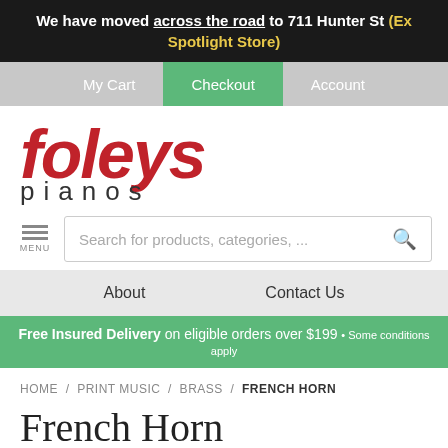We have moved across the road to 711 Hunter St (Ex Spotlight Store)
My Cart / Checkout / Account
[Figure (logo): Foleys Pianos logo — 'foleys' in large red italic bold text, 'pianos' in smaller grey spaced letters below]
Search for products, categories, ...
About   Contact Us
Free Insured Delivery on eligible orders over $199 • Some conditions apply
HOME / PRINT MUSIC / BRASS / FRENCH HORN
French Horn